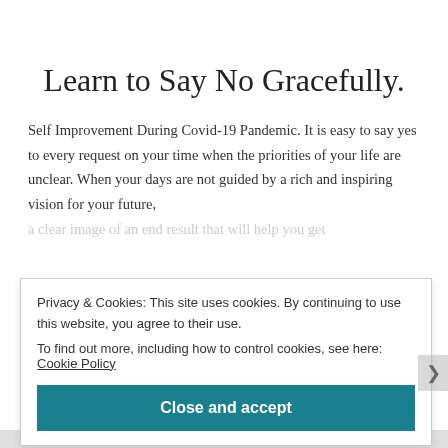Learn to Say No Gracefully.
Self Improvement During Covid-19 Pandemic. It is easy to say yes to every request on your time when the priorities of your life are unclear. When your days are not guided by a rich and inspiring vision for your future, a clear image of an end result that will help you get
Privacy & Cookies: This site uses cookies. By continuing to use this website, you agree to their use.
To find out more, including how to control cookies, see here: Cookie Policy
Close and accept